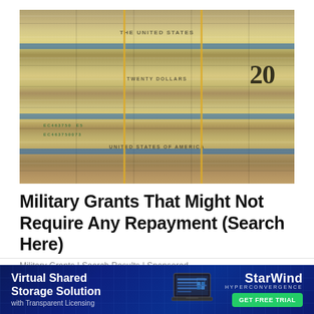[Figure (photo): Stacks of bundled $20 US dollar bills photographed from above, showing multiple stacks of cash with rubber bands and blue currency bands.]
Military Grants That Might Not Require Any Repayment (Search Here)
Military Grants | Search Results | Sponsored
[Figure (photo): Partial view of a second image below the article, showing green foliage.]
[Figure (infographic): Advertisement banner for StarWind Hyperconvergence: Virtual Shared Storage Solution with Transparent Licensing. Features a laptop graphic and a GET FREE TRIAL button.]